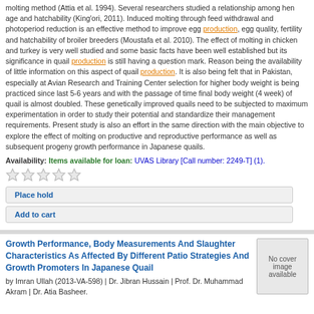molting method (Attia et al. 1994). Several researchers studied a relationship among hen age and hatchability (King'ori, 2011). Induced molting through feed withdrawal and photoperiod reduction is an effective method to improve egg production, egg quality, fertility and hatchability of broiler breeders (Moustafa et al. 2010). The effect of molting in chicken and turkey is very well studied and some basic facts have been well established but its significance in quail production is still having a question mark. Reason being the availability of little information on this aspect of quail production. It is also being felt that in Pakistan, especially at Avian Research and Training Center selection for higher body weight is being practiced since last 5-6 years and with the passage of time final body weight (4 week) of quail is almost doubled. These genetically improved quails need to be subjected to maximum experimentation in order to study their potential and standardize their management requirements. Present study is also an effort in the same direction with the main objective to explore the effect of molting on productive and reproductive performance as well as subsequent progeny growth performance in Japanese quails.
Availability: Items available for loan: UVAS Library [Call number: 2249-T] (1).
Place hold
Add to cart
Growth Performance, Body Measurements And Slaughter Characteristics As Affected By Different Patio Strategies And Growth Promoters In Japanese Quail
by Imran Ullah (2013-VA-598) | Dr. Jibran Hussain | Prof. Dr. Muhammad Akram | Dr. Atia Basheer.